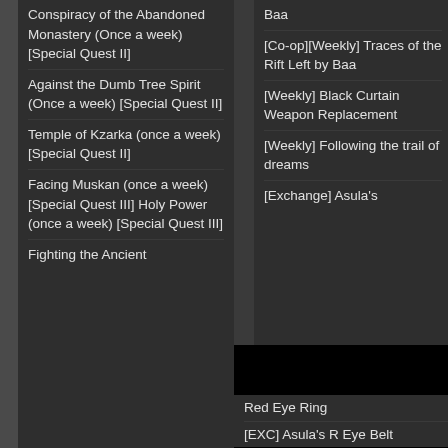Conspiracy of the Abandoned Monastery (Once a week) [Special Quest II]
Against the Dumb Tree Spirit (Once a week) [Special Quest II]
Temple of Kzarka (once a week) [Special Quest II]
Facing Muskan (once a week) [Special Quest III] Holy Power (once a week) [Special Quest III]
Fighting the Ancient
Baa [Co-op][Weekly] Traces of the Rift Left by Baa
[Weekly] Black Curtain Weapon Replacement
[Weekly] Following the trail of dreams
[Exchange] Asula's
Red Eye Ring
[EXC] Asula's R Eye Belt